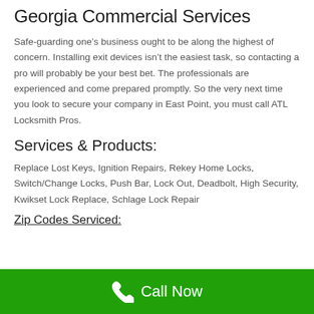Georgia Commercial Services
Safe-guarding one’s business ought to be along the highest of concern. Installing exit devices isn’t the easiest task, so contacting a pro will probably be your best bet. The professionals are experienced and come prepared promptly. So the very next time you look to secure your company in East Point, you must call ATL Locksmith Pros.
Services & Products:
Replace Lost Keys, Ignition Repairs, Rekey Home Locks, Switch/Change Locks, Push Bar, Lock Out, Deadbolt, High Security, Kwikset Lock Replace, Schlage Lock Repair
Zip Codes Serviced:
Call Now